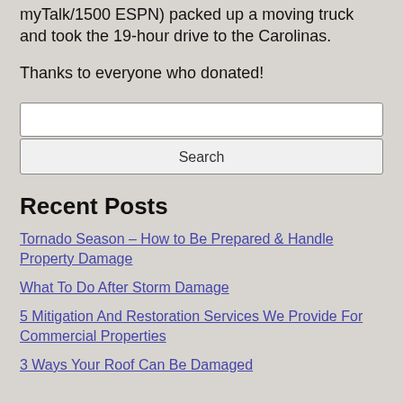myTalk/1500 ESPN) packed up a moving truck and took the 19-hour drive to the Carolinas.
Thanks to everyone who donated!
Recent Posts
Tornado Season – How to Be Prepared & Handle Property Damage
What To Do After Storm Damage
5 Mitigation And Restoration Services We Provide For Commercial Properties
3 Ways Your Roof Can Be Damaged